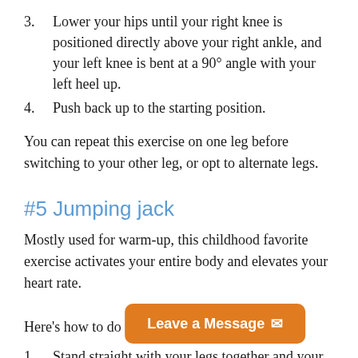3. Lower your hips until your right knee is positioned directly above your right ankle, and your left knee is bent at a 90° angle with your left heel up.
4. Push back up to the starting position.
You can repeat this exercise on one leg before switching to your other leg, or opt to alternate legs.
#5 Jumping jack
Mostly used for warm-up, this childhood favorite exercise activates your entire body and elevates your heart rate.
Here's how to do it:
1. Stand straight with your legs together and your arms at your sides.
2. With a slight bend, jump with your feet...